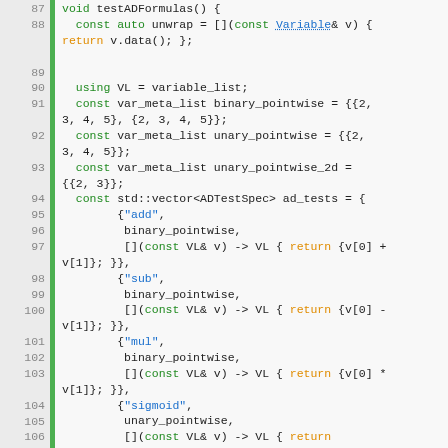[Figure (screenshot): Source code listing in C++ showing function testADFormulas() with line numbers 87-110, displaying variable declarations and lambda expressions for AD test specifications including add, sub, mul, sigmoid, tanh, and t operations.]